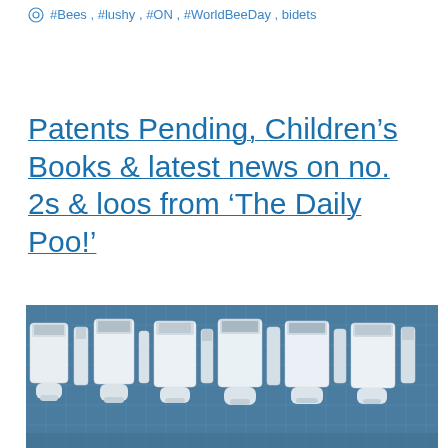#Bees, #lushy, #ON, #WorldBeeDay, bidets
Patents Pending, Children's Books & latest news on no. 2s & loos from 'The Daily Poo!'
[Figure (photo): A row of white urinals displayed against a blue-grey grid background, viewed from the front and side angles.]